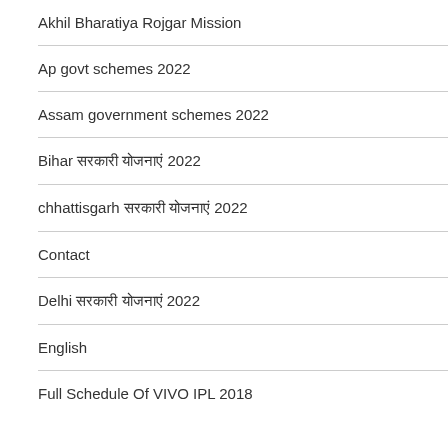Akhil Bharatiya Rojgar Mission
Ap govt schemes 2022
Assam government schemes 2022
Bihar सरकारी योजनाएं 2022
chhattisgarh सरकारी योजनाएं 2022
Contact
Delhi सरकारी योजनाएं 2022
English
Full Schedule Of VIVO IPL 2018